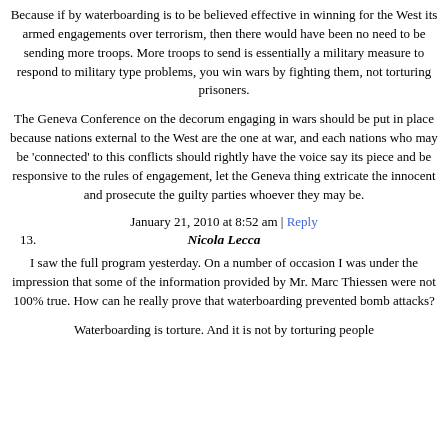Because if by waterboarding is to be believed effective in winning for the West its armed engagements over terrorism, then there would have been no need to be sending more troops. More troops to send is essentially a military measure to respond to military type problems, you win wars by fighting them, not torturing prisoners.
The Geneva Conference on the decorum engaging in wars should be put in place because nations external to the West are the one at war, and each nations who may be 'connected' to this conflicts should rightly have the voice say its piece and be responsive to the rules of engagement, let the Geneva thing extricate the innocent and prosecute the guilty parties whoever they may be.
January 21, 2010 at 8:52 am | Reply
13.   Nicola Lecca
I saw the full program yesterday. On a number of occasion I was under the impression that some of the information provided by Mr. Marc Thiessen were not 100% true. How can he really prove that waterboarding prevented bomb attacks?
Waterboarding is torture. And it is not by torturing people